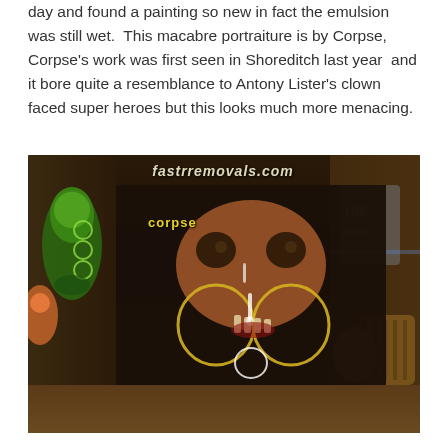day and found a painting so new in fact the emulsion was still wet.  This macabre portraiture is by Corpse, Corpse's work was first seen in Shoreditch last year  and it bore quite a resemblance to Antony Lister's clown faced super heroes but this looks much more menacing.
[Figure (photo): A photograph of graffiti art on a brick wall in an urban alleyway. The central panel shows a large macabre face with wide eyes and a jagged yellow-outlined mouth, labeled 'corpse' in yellow paint. The left side features green cartoon-style graffiti, and the right side shows additional colorful street art. A watermark reads 'fastrremovals.com' at the top.]